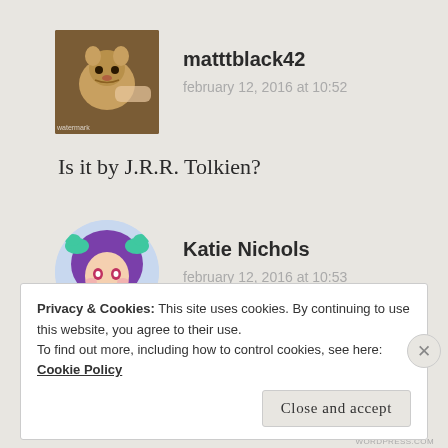[Figure (photo): Avatar photo of a small animal (squirrel or chipmunk) being hand-fed, brown tones, small watermark at bottom]
matttblack42
february 12, 2016 at 10:52
Is it by J.R.R. Tolkien?
[Figure (illustration): Cartoon avatar of a girl with purple hair and teal bows, anime style, heart-shaped background in light blue]
Katie Nichols
february 12, 2016 at 10:53
Privacy & Cookies: This site uses cookies. By continuing to use this website, you agree to their use.
To find out more, including how to control cookies, see here: Cookie Policy
Close and accept